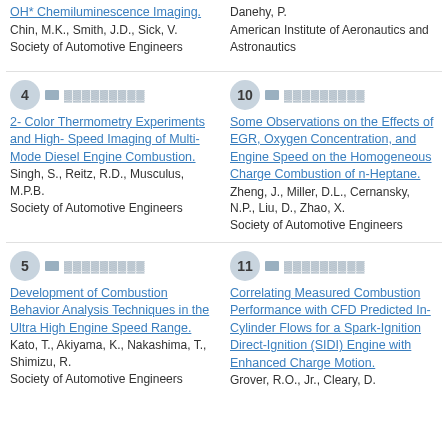OH* Chemiluminescence Imaging.
Chin, M.K., Smith, J.D., Sick, V.
Society of Automotive Engineers
Danehy, P.
American Institute of Aeronautics and Astronautics
4 — 2- Color Thermometry Experiments and High- Speed Imaging of Multi- Mode Diesel Engine Combustion. Singh, S., Reitz, R.D., Musculus, M.P.B. Society of Automotive Engineers
10 — Some Observations on the Effects of EGR, Oxygen Concentration, and Engine Speed on the Homogeneous Charge Combustion of n-Heptane. Zheng, J., Miller, D.L., Cernansky, N.P., Liu, D., Zhao, X. Society of Automotive Engineers
5 — Development of Combustion Behavior Analysis Techniques in the Ultra High Engine Speed Range. Kato, T., Akiyama, K., Nakashima, T., Shimizu, R. Society of Automotive Engineers
11 — Correlating Measured Combustion Performance with CFD Predicted In-Cylinder Flows for a Spark-Ignition Direct-Ignition (SIDI) Engine with Enhanced Charge Motion. Grover, R.O., Jr., Cleary, D.